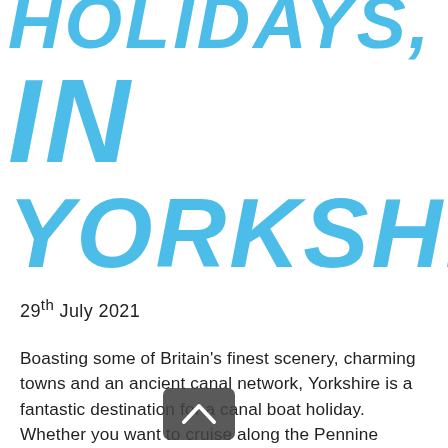HOLIDAYS IN YORKSHIRE
29th July 2021
Boasting some of Britain's finest scenery, charming towns and an ancient canal network, Yorkshire is a fantastic destination for a canal boat holiday. Whether you want to cruise along the Pennine waterways or stop off at some cities